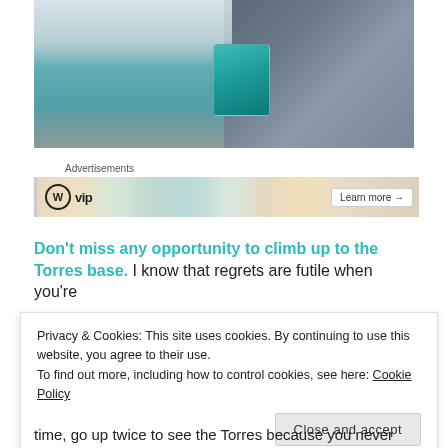[Figure (photo): Landscape photo showing a turquoise mountain lake with snow-capped peaks on the left half, and a person wearing a dark jacket on the right half, with a colorful card/image overlay in the center.]
Advertisements
[Figure (other): Advertisement banner for WordPress VIP showing the WP logo with 'vip' text, decorative colorful book/card imagery, and a 'Learn more →' button.]
Don't miss any opportunity to climb up to the Torres base. I know that regrets are futile when you're
Privacy & Cookies: This site uses cookies. By continuing to use this website, you agree to their use.
To find out more, including how to control cookies, see here: Cookie Policy
Close and accept
time, go up twice to see the Torres because you never